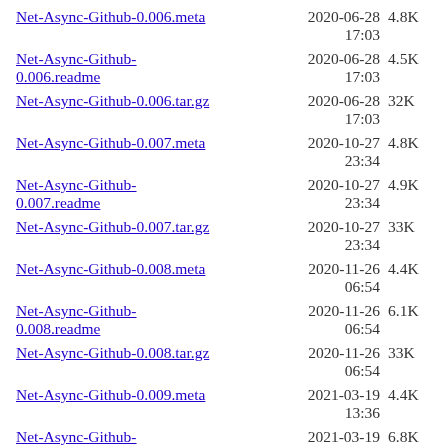Net-Async-Github-0.006.meta  2020-06-28 17:03  4.8K
Net-Async-Github-0.006.readme  2020-06-28 17:03  4.5K
Net-Async-Github-0.006.tar.gz  2020-06-28 17:03  32K
Net-Async-Github-0.007.meta  2020-10-27 23:34  4.8K
Net-Async-Github-0.007.readme  2020-10-27 23:34  4.9K
Net-Async-Github-0.007.tar.gz  2020-10-27 23:34  33K
Net-Async-Github-0.008.meta  2020-11-26 06:54  4.4K
Net-Async-Github-0.008.readme  2020-11-26 06:54  6.1K
Net-Async-Github-0.008.tar.gz  2020-11-26 06:54  33K
Net-Async-Github-0.009.meta  2021-03-19 13:36  4.4K
Net-Async-Github-0.009.readme  2021-03-19 13:36  6.8K
Net-Async-Github-0.009.tar.gz  2021-03-19 ...